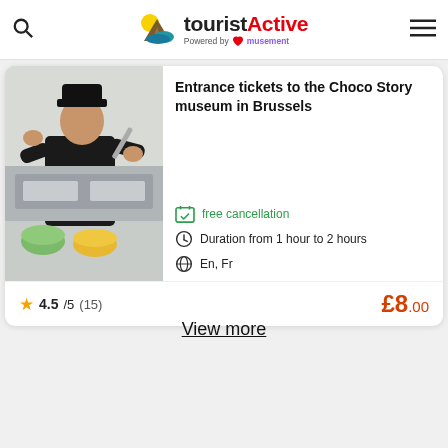touristActive – Powered by musement
Entrance tickets to the Choco Story museum in Brussels
free cancellation
Duration from 1 hour to 2 hours
En, Fr
4.5/5 (15)   £8.00
View more